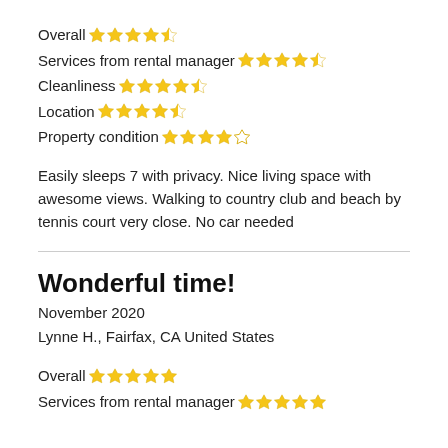Overall ★★★★★ (4 filled stars, 1 partial)
Services from rental manager ★★★★★ (4 filled stars, 1 partial)
Cleanliness ★★★★★ (4 filled stars, 1 partial)
Location ★★★★★ (4 filled stars, 1 partial)
Property condition ★★★★☆ (3.5 stars)
Easily sleeps 7 with privacy. Nice living space with awesome views. Walking to country club and beach by tennis court very close. No car needed
Wonderful time!
November 2020
Lynne H., Fairfax, CA United States
Overall ★★★★★ (5 stars)
Services from rental manager ★★★★★ (5 stars)